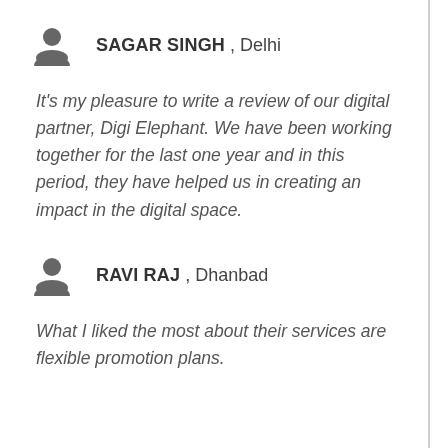SAGAR SINGH , Delhi
It’s my pleasure to write a review of our digital partner, Digi Elephant. We have been working together for the last one year and in this period, they have helped us in creating an impact in the digital space.
RAVI RAJ , Dhanbad
What I liked the most about their services are flexible promotion plans.